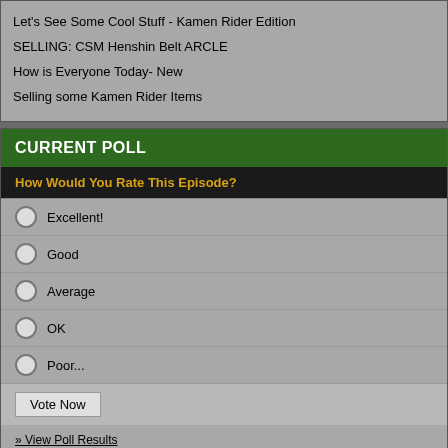Let's See Some Cool Stuff - Kamen Rider Edition
SELLING: CSM Henshin Belt ARCLE
How is Everyone Today- New
Selling some Kamen Rider Items
CURRENT POLL
How Would You Rate This Episode?
Excellent!
Good
Average
OK
Poor...
Vote Now
» View Poll Results
» Comment On This Poll
» This Poll Has 1 Reply